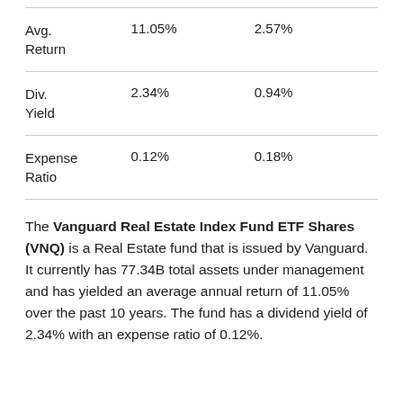|  |  |  |
| --- | --- | --- |
| Avg. Return | 11.05% | 2.57% |
| Div. Yield | 2.34% | 0.94% |
| Expense Ratio | 0.12% | 0.18% |
The Vanguard Real Estate Index Fund ETF Shares (VNQ) is a Real Estate fund that is issued by Vanguard. It currently has 77.34B total assets under management and has yielded an average annual return of 11.05% over the past 10 years. The fund has a dividend yield of 2.34% with an expense ratio of 0.12%.